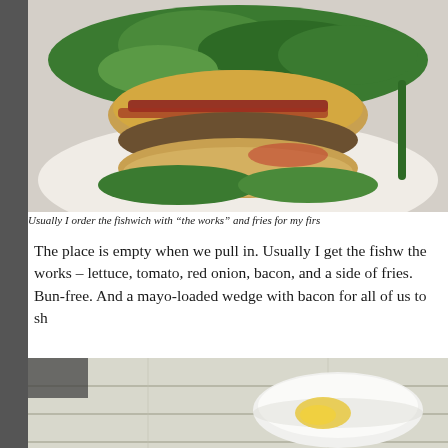[Figure (photo): Close-up photo of a fishwich sandwich with lettuce, bacon, tomato on a bun on a white plate]
Usually I order the fishwich with “the works” and fries for my firs
The place is empty when we pull in. Usually I get the fishw the works – lettuce, tomato, red onion, bacon, and a side of fries. Bun-free. And a mayo-loaded wedge with bacon for all of us to sh
[Figure (photo): Photo of a small white bowl with yellow mayo/sauce on a white wooden table surface]